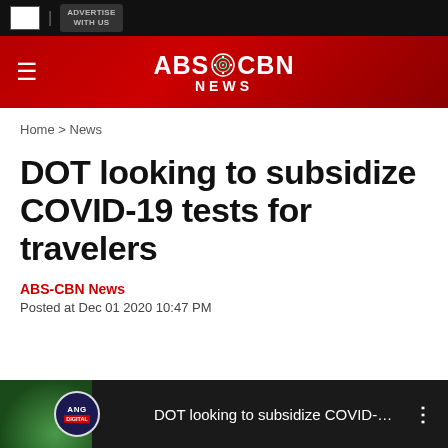ADVERTISE WITH US
[Figure (logo): ABS-CBN News logo with navigation header on red gradient background]
Home > News
DOT looking to subsidize COVID-19 tests for travelers
ABS-CBN News
Posted at Dec 01 2020 10:47 PM
[Figure (screenshot): Video player thumbnail showing DOT looking to subsidize COVID-19 tes... with ANG Digital badge overlay]